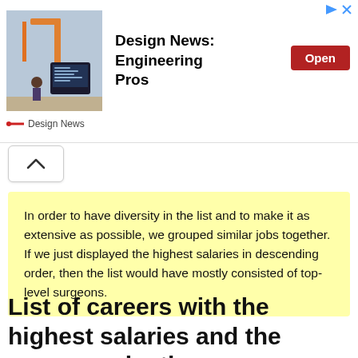[Figure (screenshot): Advertisement banner for Design News: Engineering Pros with an industrial/engineering image, bold title, and a red Open button. Includes Design News logo and sponsored icons.]
[Figure (other): Chevron/up-arrow button UI element]
In order to have diversity in the list and to make it as extensive as possible, we grouped similar jobs together. If we just displayed the highest salaries in descending order, then the list would have mostly consisted of top-level surgeons.
List of careers with the highest salaries and the reasons why they pay so much: